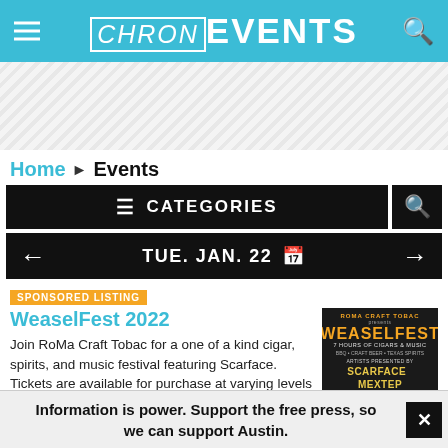CHRON EVENTS
[Figure (other): Advertisement banner with diagonal stripe pattern]
Home ▶ Events
≡ CATEGORIES
← TUE. JAN. 22 🗓 →
SPONSORED LISTING
WeaselFest 2022
Join RoMa Craft Tobac for a one of a kind cigar, spirits, and music festival featuring Scarface. Tickets are available for purchase at varying levels to enjoy music, food, and
[Figure (photo): WeaselFest 2022 event poster. Roma Craft Tobac presents WeaselFest. 7 Hours of Cigars & Music. BBQ + Craft Beer + Texas Spirits. Artists: Scarface, Mextep, Borcher, B-Mort. $150 ticket.]
Information is power. Support the free press, so we can support Austin.